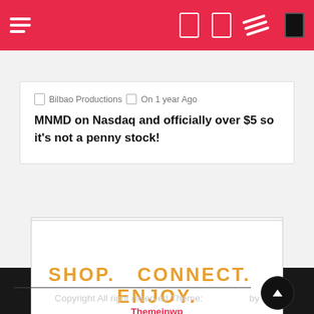Navigation bar with hamburger menu and icons
Bilbao Productions  On 1 year Ago
MNMD on Nasdaq and officially over $5 so it's not a penny stock!
[Figure (infographic): Advertisement banner with text: SHOP. CONNECT. ENJOY. with Privacy label]
Copyright All right reserved Theme: Telegram by Themeinwp